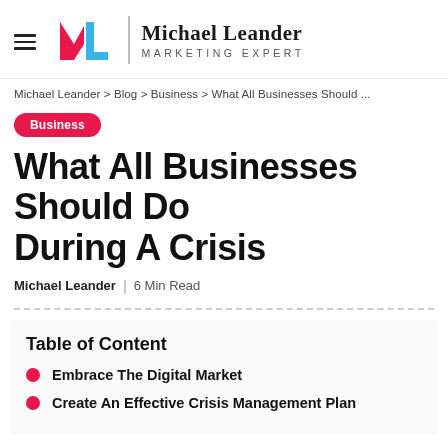Michael Leander | Marketing Expert
Michael Leander > Blog > Business > What All Businesses Should ...
Business
What All Businesses Should Do During A Crisis
Michael Leander | 6 Min Read
Table of Content
Embrace The Digital Market
Create An Effective Crisis Management Plan